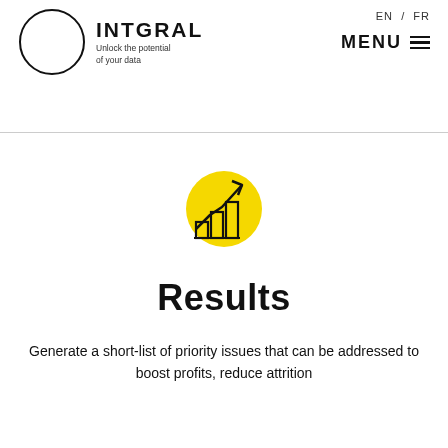[Figure (logo): INTGRAL logo with circular outline and tagline 'Unlock the potential of your data']
EN / FR  MENU
[Figure (illustration): Yellow circle with bar chart and upward arrow icon representing growth/results]
Results
Generate a short-list of priority issues that can be addressed to boost profits, reduce attrition